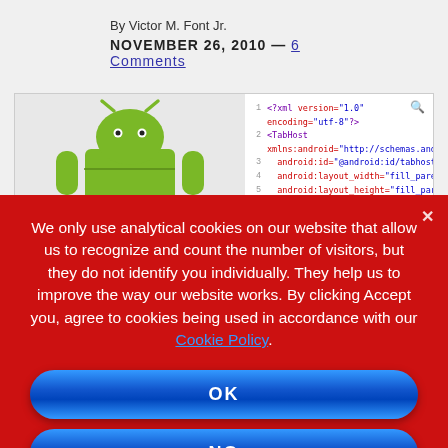By Victor M. Font Jr.
NOVEMBER 26, 2010 — 6 Comments
[Figure (screenshot): Screenshot showing Android robot logo on the left and XML code editor on the right with lines of Android XML layout code]
We only use analytical cookies on our website that allow us to recognize and count the number of visitors, but they do not identify you individually. They help us to improve the way our website works. By clicking Accept you, agree to cookies being used in accordance with our Cookie Policy.
OK
NO
COOKIE POLICY